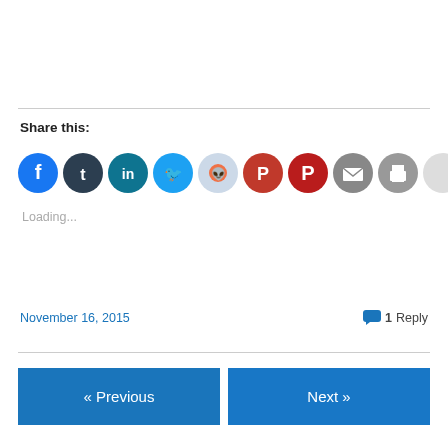Share this:
[Figure (infographic): Row of social share icon circles: Facebook (blue), Tumblr (dark blue), LinkedIn (teal), Twitter (cyan), Reddit (light blue), Pocket (red), Pinterest (red), Email (gray), Print (gray), and one empty gray circle.]
Loading...
November 16, 2015
1 Reply
« Previous
Next »